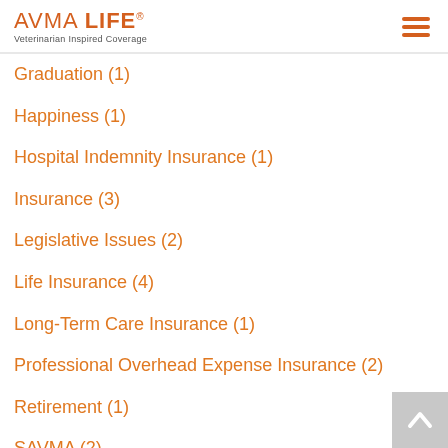AVMA LIFE — Veterinarian Inspired Coverage
Graduation (1)
Happiness (1)
Hospital Indemnity Insurance (1)
Insurance (3)
Legislative Issues (2)
Life Insurance (4)
Long-Term Care Insurance (1)
Professional Overhead Expense Insurance (2)
Retirement (1)
SAVMA (2)
Student Documentations (?)